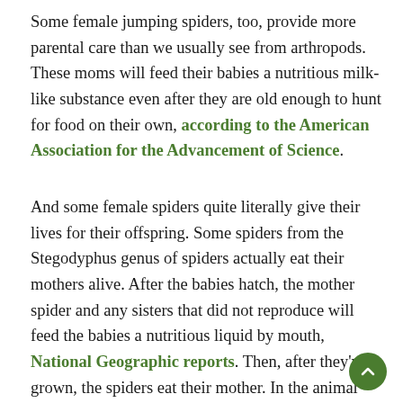Some female jumping spiders, too, provide more parental care than we usually see from arthropods. These moms will feed their babies a nutritious milk-like substance even after they are old enough to hunt for food on their own, according to the American Association for the Advancement of Science.
And some female spiders quite literally give their lives for their offspring. Some spiders from the Stegodyphus genus of spiders actually eat their mothers alive. After the babies hatch, the mother spider and any sisters that did not reproduce will feed the babies a nutritious liquid by mouth, National Geographic reports. Then, after they've grown, the spiders eat their mother. In the animal kingdom, offspring eating their mother, or matriphagy, is rare, only known to occur with a few